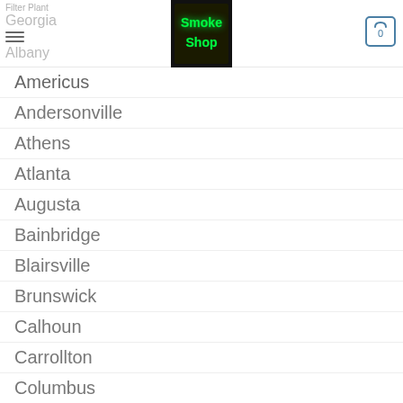Filter Plant / Georgia / Albany — Smoke Shop header with hamburger menu and cart icon
Americus
Andersonville
Athens
Atlanta
Augusta
Bainbridge
Blairsville
Brunswick
Calhoun
Carrollton
Columbus
Dahlonega
Dalton
Darien
Decatur